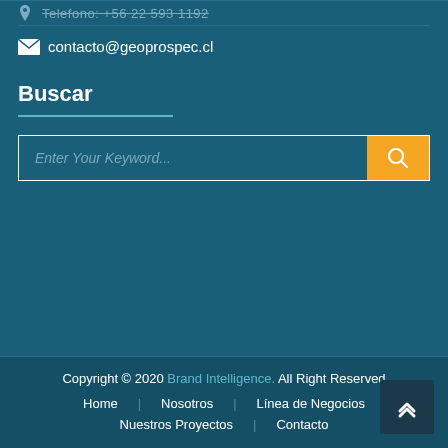Telefono: +56 22 593 1192
contacto@geoprospec.cl
Buscar
Enter Your Keyword...
Copyright © 2020 Brand Intelligence. All Right Reserved
Home | Nosotros | Línea de Negocios | Nuestros Proyectos | Contacto